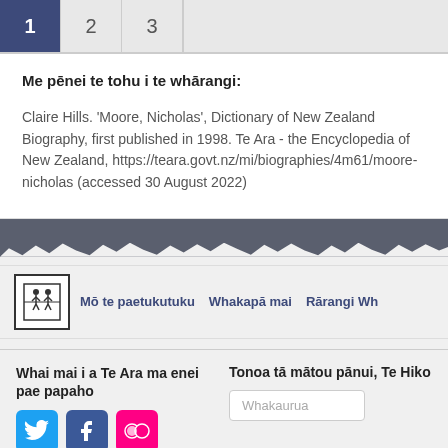1  2  3
Me pēnei te tohu i te whārangi:
Claire Hills. 'Moore, Nicholas', Dictionary of New Zealand Biography, first published in 1998. Te Ara - the Encyclopedia of New Zealand, https://teara.govt.nz/mi/biographies/4m61/moore-nicholas (accessed 30 August 2022)
Mō te paetukutuku    Whakapā mai    Rārangi Wh
Whai mai i a Te Ara ma enei pae papaho
Tonoa tā mātou pānui, Te Hiko
Whakaurua